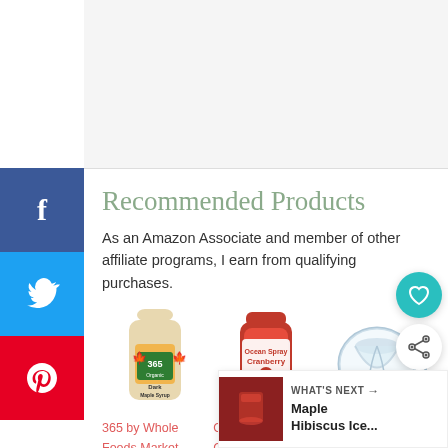[Figure (other): Top banner/hero image area (white/light gray cropped image)]
Recommended Products
As an Amazon Associate and member of other affiliate programs, I earn from qualifying purchases.
[Figure (photo): 365 by Whole Foods Market Organic Dark Maple Syrup bottle product photo]
[Figure (photo): Ocean Spray Cranberry Cocktail Juice 64 Fl Oz bottle product photo]
[Figure (photo): Norpro 5207 2 Cup Citrus Juicer, Clear product photo]
365 by Whole Foods Market, Organic Pure 100% Grade A Maple Syrup, Dark Color
Ocean Spray Cranberry Cocktail Juice, 64 Fl Oz
Norpro 5207 2 Cup Citrus Juicer, Clear
[Figure (other): What's Next thumbnail: Maple Hibiscus Ice... with drink image]